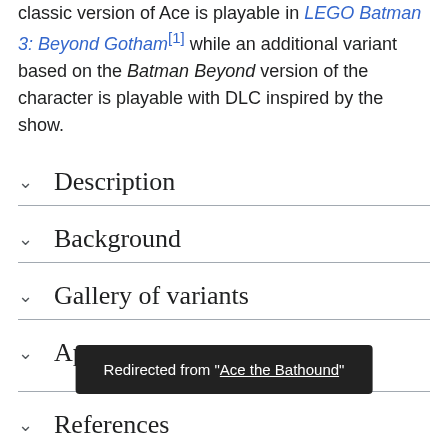classic version of Ace is playable in LEGO Batman 3: Beyond Gotham[1] while an additional variant based on the Batman Beyond version of the character is playable with DLC inspired by the show.
Description
Background
Gallery of variants
Appearances
Redirected from "Ace the Bathound"
References